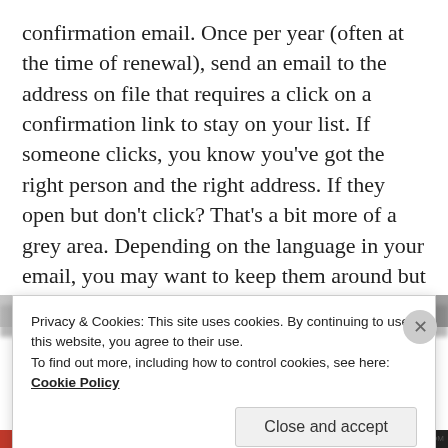confirmation email. Once per year (often at the time of renewal), send an email to the address on file that requires a click on a confirmation link to stay on your list. If someone clicks, you know you've got the right person and the right address. If they open but don't click? That's a bit more of a grey area. Depending on the language in your email, you may want to keep them around but limit the emails they receive. Non-openers should be suppressed from your email campaigns going forward.
Privacy & Cookies: This site uses cookies. By continuing to use this website, you agree to their use.
To find out more, including how to control cookies, see here: Cookie Policy